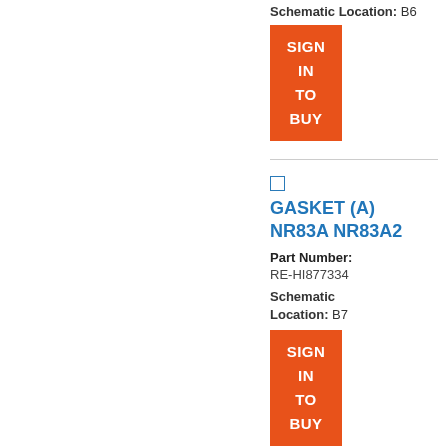Schematic Location: B6
[Figure (other): Orange 'SIGN IN TO BUY' button]
GASKET (A) NR83A NR83A2
Part Number: RE-HI877334
Schematic Location: B7
[Figure (other): Orange 'SIGN IN TO BUY' button]
PACKING GASKET FOR